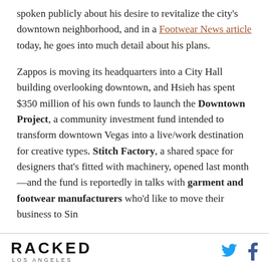spoken publicly about his desire to revitalize the city's downtown neighborhood, and in a Footwear News article today, he goes into much detail about his plans.

Zappos is moving its headquarters into a City Hall building overlooking downtown, and Hsieh has spent $350 million of his own funds to launch the Downtown Project, a community investment fund intended to transform downtown Vegas into a live/work destination for creative types. Stitch Factory, a shared space for designers that's fitted with machinery, opened last month—and the fund is reportedly in talks with garment and footwear manufacturers who'd like to move their business to Sin
RACKED LOS ANGELES